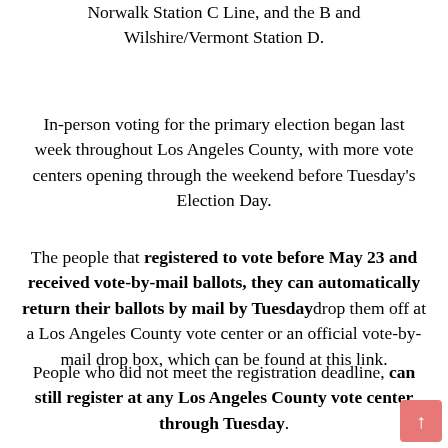Norwalk Station C Line, and the B and Wilshire/Vermont Station D.
In-person voting for the primary election began last week throughout Los Angeles County, with more vote centers opening through the weekend before Tuesday's Election Day.
The people that registered to vote before May 23 and received vote-by-mail ballots, they can automatically return their ballots by mail by Tuesday drop them off at a Los Angeles County vote center or an official vote-by-mail drop box, which can be found at this link.
People who did not meet the registration deadline, can still register at any Los Angeles County vote center through Tuesday.